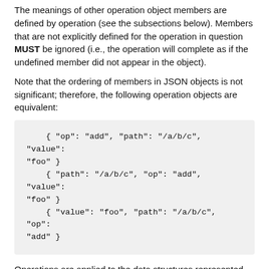The meanings of other operation object members are defined by operation (see the subsections below). Members that are not explicitly defined for the operation in question MUST be ignored (i.e., the operation will complete as if the undefined member did not appear in the object).
Note that the ordering of members in JSON objects is not significant; therefore, the following operation objects are equivalent:
{ "op": "add", "path": "/a/b/c", "value": "foo" }
    { "path": "/a/b/c", "op": "add", "value": "foo" }
    { "value": "foo", "path": "/a/b/c", "op": "add" }
Operations are applied to the data structures represented by a JSON document, i.e., after any unescaping (see [RFC4627], Section 2.5) takes place.